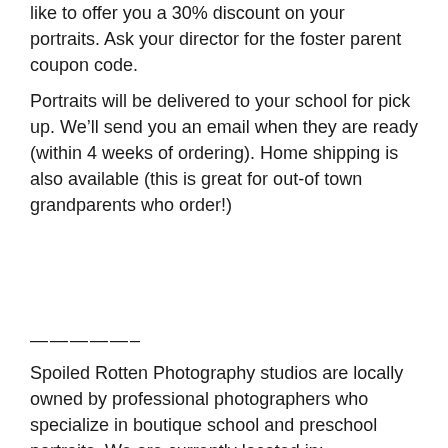like to offer you a 30% discount on your portraits.  Ask your director for the foster parent coupon code.
Portraits will be delivered to your school for pick up.  We’ll send you an email when they are ready (within 4 weeks of ordering).  Home shipping is also available (this is great for out-of town grandparents who order!)
—————–
Spoiled Rotten Photography studios are locally owned by professional photographers who specialize in boutique school and preschool portraits.  We are currently located in: